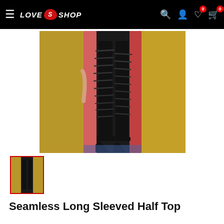LOVE S SHOP — navigation bar with search, account, wishlist (0), cart (0)
[Figure (photo): Product photo showing a model wearing black lace-up leggings/stockings with high heel sandals, posed between gold/green curtains.]
[Figure (photo): Small thumbnail image of the product (selected state, red border).]
Seamless Long Sleeved Half Top